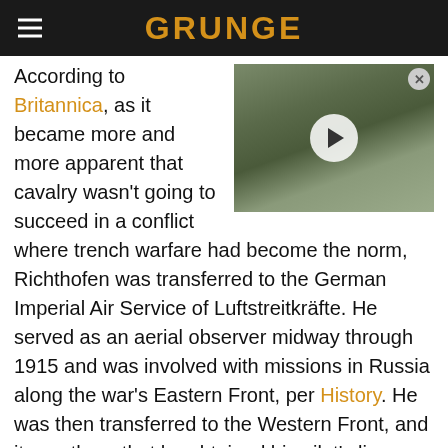GRUNGE
[Figure (photo): Video thumbnail showing a man with curly hair outdoors, with a play button overlay. Close button in top right corner.]
According to Britannica, as it became more and more apparent that cavalry wasn't going to succeed in a conflict where trench warfare had become the norm, Richthofen was transferred to the German Imperial Air Service of Luftstreitkräfte. He served as an aerial observer midway through 1915 and was involved with missions in Russia along the war's Eastern Front, per History. He was then transferred to the Western Front, and it was there that he obtained his pilot's license and flew missions on both fronts. Richthofen came into his own as a pilot when he started learning from German ace Oswald Boelcke as part of his fighter squadron known as Jasta 2.